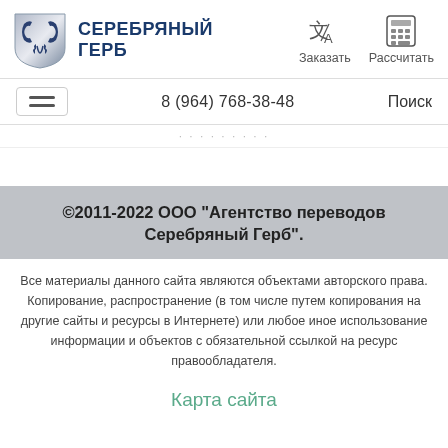СЕРЕБРЯНЫЙ ГЕРБ — Заказать — Рассчитать
8 (964) 768-38-48  Поиск
©2011-2022 ООО "Агентство переводов Серебряный Герб".
Все материалы данного сайта являются объектами авторского права. Копирование, распространение (в том числе путем копирования на другие сайты и ресурсы в Интернете) или любое иное использование информации и объектов с обязательной ссылкой на ресурс правообладателя.
Карта сайта